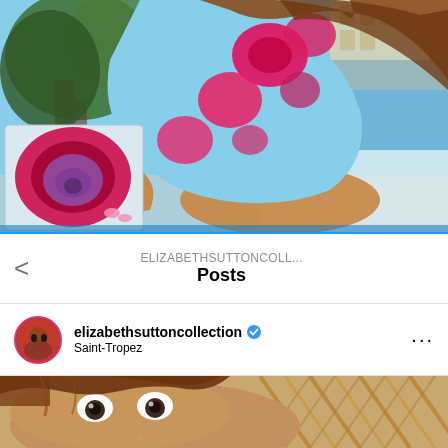[Figure (photo): Top photo showing a woman in a blue floral swimsuit/outfit with red/pink flowers, holding a bag with a rose design, outdoors near trees and a building]
ELIZABETHSUTTONCOLL...
Posts
elizabethsuttoncollection ✓ Saint-Tropez
[Figure (photo): Bottom photo showing a woman's face with brown hair and wide eyes, with wicker/rattan texture visible on the right]